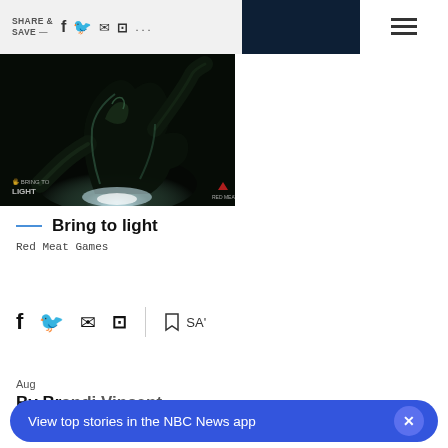SHARE & SAVE — f y ✉ ⊡ ... ☰
[Figure (photo): Dark creature / monster action scene with glowing white light, 'Bring to Light' game art from Red Meat Games]
— Bring to light
Red Meat Games
f  🐦  ✉  ⊡  |  🔖 SA'
Aug
By Brandi Vincent
View top stories in the NBC News app  ×